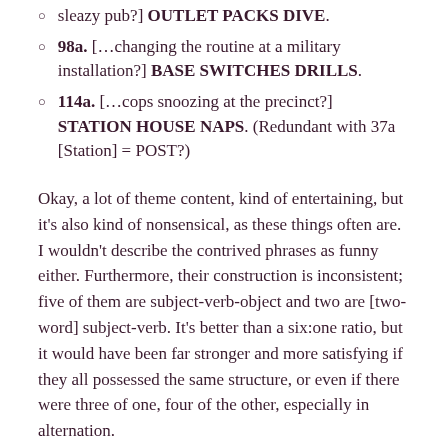sleazy pub?] OUTLET PACKS DIVE.
98a. […changing the routine at a military installation?] BASE SWITCHES DRILLS.
114a. […cops snoozing at the precinct?] STATION HOUSE NAPS. (Redundant with 37a [Station] = POST?)
Okay, a lot of theme content, kind of entertaining, but it's also kind of nonsensical, as these things often are. I wouldn't describe the contrived phrases as funny either. Furthermore, their construction is inconsistent; five of them are subject-verb-object and two are [two-word] subject-verb. It's better than a six:one ratio, but it would have been far stronger and more satisfying if they all possessed the same structure, or even if there were three of one, four of the other, especially in alternation.